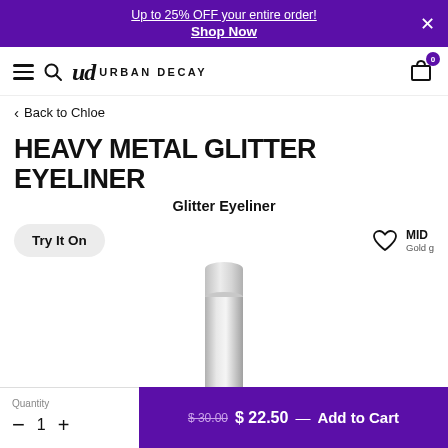Up to 25% OFF your entire order! Shop Now
[Figure (logo): Urban Decay logo with hamburger menu, search icon, and cart icon with badge 0]
Back to Chloe
HEAVY METAL GLITTER EYELINER
Glitter Eyeliner
Try It On
MID Gold g
[Figure (photo): Silver/metallic cylindrical eyeliner product tube]
Quantity 1
$ 30.00  $ 22.50 — Add to Cart